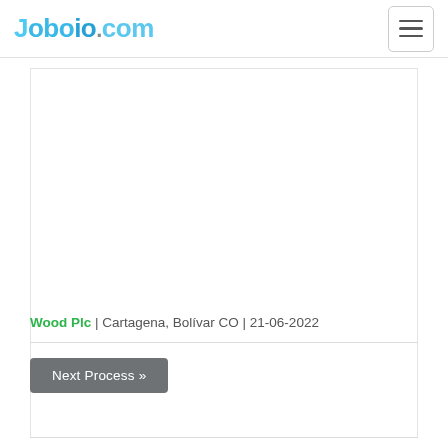Joboio.com
Wood Plc | Cartagena, Bolívar CO | 21-06-2022
Next Process »